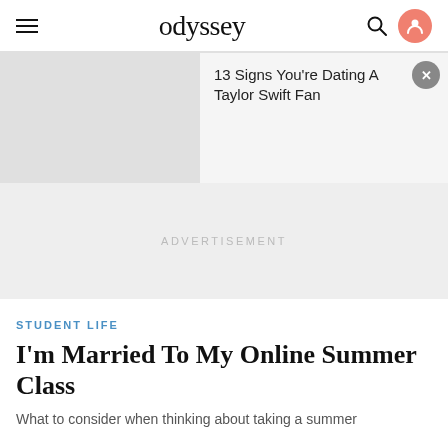odyssey
13 Signs You're Dating A Taylor Swift Fan
ADVERTISEMENT
STUDENT LIFE
I'm Married To My Online Summer Class
What to consider when thinking about taking a summer